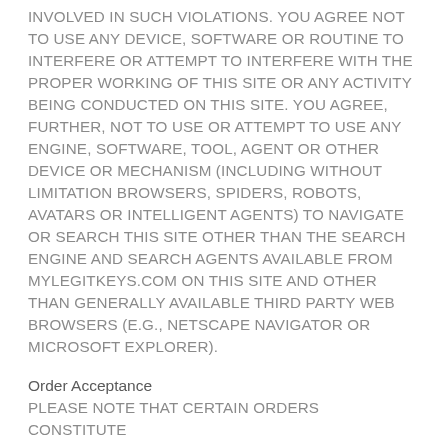INVOLVED IN SUCH VIOLATIONS. YOU AGREE NOT TO USE ANY DEVICE, SOFTWARE OR ROUTINE TO INTERFERE OR ATTEMPT TO INTERFERE WITH THE PROPER WORKING OF THIS SITE OR ANY ACTIVITY BEING CONDUCTED ON THIS SITE. YOU AGREE, FURTHER, NOT TO USE OR ATTEMPT TO USE ANY ENGINE, SOFTWARE, TOOL, AGENT OR OTHER DEVICE OR MECHANISM (INCLUDING WITHOUT LIMITATION BROWSERS, SPIDERS, ROBOTS, AVATARS OR INTELLIGENT AGENTS) TO NAVIGATE OR SEARCH THIS SITE OTHER THAN THE SEARCH ENGINE AND SEARCH AGENTS AVAILABLE FROM MYLEGITKEYS.COM ON THIS SITE AND OTHER THAN GENERALLY AVAILABLE THIRD PARTY WEB BROWSERS (E.G., NETSCAPE NAVIGATOR OR MICROSOFT EXPLORER).
Order Acceptance
PLEASE NOTE THAT CERTAIN ORDERS CONSTITUTE